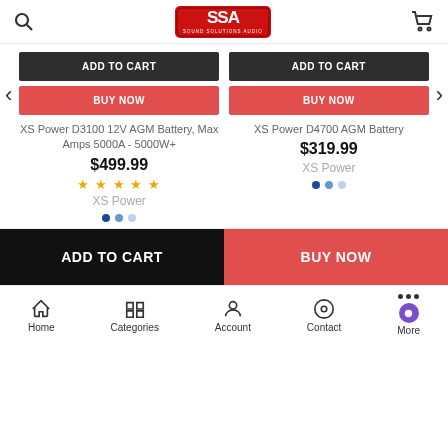[Figure (logo): SSA Sound Solutions Audio logo in red and black]
XS Power D3100 12V AGM Battery, Max Amps 5000A - 5000W+
$499.99
XS Power
XS Power D4700 AGM Battery
$319.99
XS Power
ADD TO CART
BUY NOW
Home    Categories    Account    Contact    More